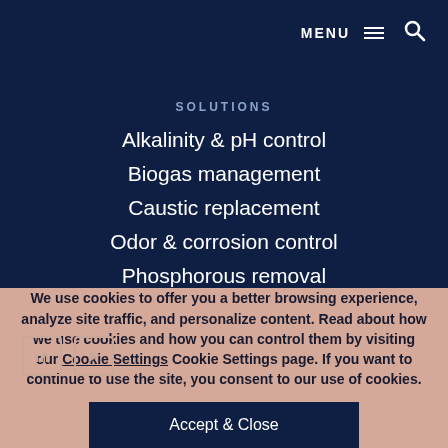MENU
SOLUTIONS
Alkalinity & pH control
Biogas management
Caustic replacement
Odor & corrosion control
Phosphorous removal
FREQUENTLY ASKED QUESTIONS
Privacy policy
We use cookies to offer you a better browsing experience, analyze site traffic, and personalize content. Read about how we use cookies and how you can control them by visiting our Cookie Settings Cookie Settings page. If you want to continue to use the site, you consent to our use of cookies.
Accept & Close